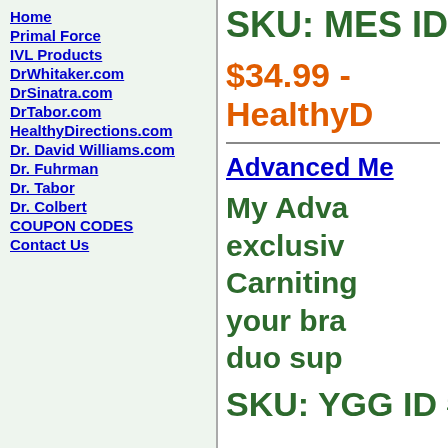Home
Primal Force
IVL Products
DrWhitaker.com
DrSinatra.com
DrTabor.com
HealthyDirections.com
Dr. David Williams.com
Dr. Fuhrman
Dr. Tabor
Dr. Colbert
COUPON CODES
Contact Us
SKU: MES ID # M
$34.99 - HealthyD
Advanced Me
My Adva exclusive Carnitin your bra duo sup
SKU: YGG ID # YG